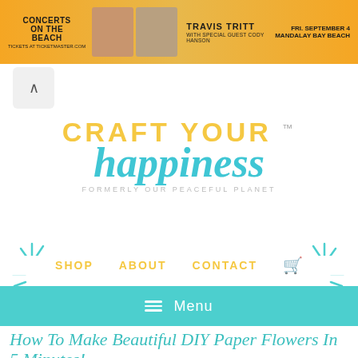[Figure (screenshot): Advertisement banner for Concerts on the Beach featuring Travis Tritt with special guest Cody Hanson, Fri September 4, Mandalay Bay Beach]
[Figure (logo): Craft Your Happiness logo (formerly Our Peaceful Planet) with teal and yellow text on white background]
SHOP   ABOUT   CONTACT
Menu
How To Make Beautiful DIY Paper Flowers In 5 Minutes!